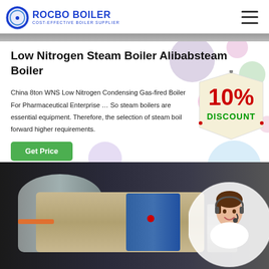[Figure (logo): Rocbo Boiler logo with circular icon and text 'ROCBO BOILER - COST-EFFECTIVE BOILER SUPPLIER' in blue]
Low Nitrogen Steam Boiler Alibabsteam Boiler
China 8ton WNS Low Nitrogen Condensing Gas-fired Boiler For Pharmaceutical Enterprise … So steam boilers are essential equipment. Therefore, the selection of steam boil forward higher requirements.
[Figure (infographic): 10% Discount badge/sticker with colorful decorative bubbles in background]
[Figure (photo): Industrial boiler equipment in a factory/plant setting with customer service representative in a circle overlay on the right]
[Figure (illustration): Customer service woman with headset smiling, shown in a circular frame]
[Figure (illustration): Decorative colored bubbles scattered across the page background]